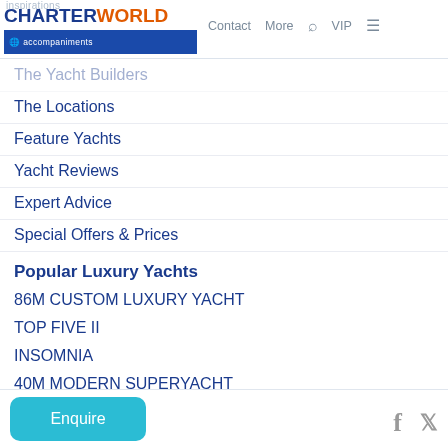CHARTERWORLD | Contact | More | VIP
The Yacht Builders
The Locations
Feature Yachts
Yacht Reviews
Expert Advice
Special Offers & Prices
Popular Luxury Yachts
86M CUSTOM LUXURY YACHT
TOP FIVE II
INSOMNIA
40M MODERN SUPERYACHT
80M MODERN CUSTOM YACHT
TATIANA
LANA
SOLEMATES